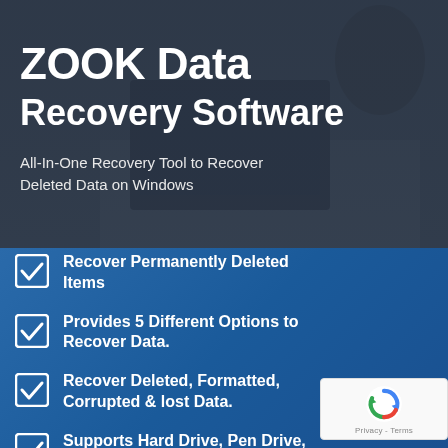ZOOK Data Recovery Software
All-In-One Recovery Tool to Recover Deleted Data on Windows
Recover Permanently Deleted Items
Provides 5 Different Options to Recover Data.
Recover Deleted, Formatted, Corrupted & lost Data.
Supports Hard Drive, Pen Drive, SD Card, SDD, HDD, Hard Disk...
[Figure (logo): reCAPTCHA badge with spinning arrows logo and Privacy - Terms text]